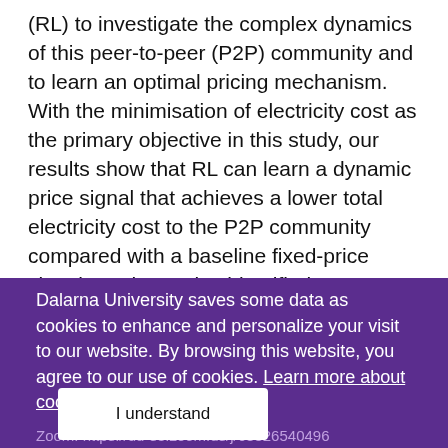(RL) to investigate the complex dynamics of this peer-to-peer (P2P) community and to learn an optimal pricing mechanism. With the minimisation of electricity cost as the primary objective in this study, our results show that RL can learn a dynamic price signal that achieves a lower total electricity cost to the P2P community compared with a baseline fixed-price signal. We have also identified emergent social-economic behaviours. For example, prosumers with more supply than demand prefer to sell energy than store it, and, conversely, those with more demand than supply prefer storing energy than selling it. Lastly, under RL a higher community self-sufficiency is achieved...
Dalarna University saves some data as cookies to enhance and personalize your visit to our website. By browsing this website, you agree to our use of cookies. Learn more about cookies
I understand
Zoom: https://du-se.zoom.us/j/63326540496